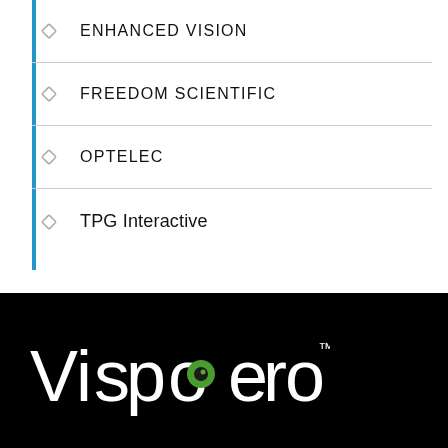ENHANCED VISION
FREEDOM SCIENTIFIC
OPTELEC
TPG Interactive
[Figure (logo): Vispero logo: white text 'Vispero' with TM mark on black background, the letter 'o' contains a green eye icon]